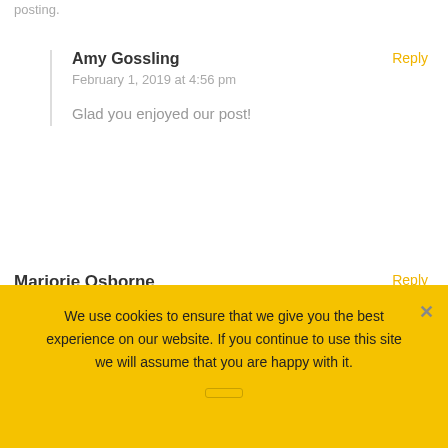posting.
Amy Gossling
February 1, 2019 at 4:56 pm

Glad you enjoyed our post!
Reply
Marjorie Osborne
November 21, 2018 at 3:16 pm

If some one desires an expert view about blogging I will send him/her to pay a visit this
Reply
We use cookies to ensure that we give you the best experience on our website. If you continue to use this site we will assume that you are happy with it.